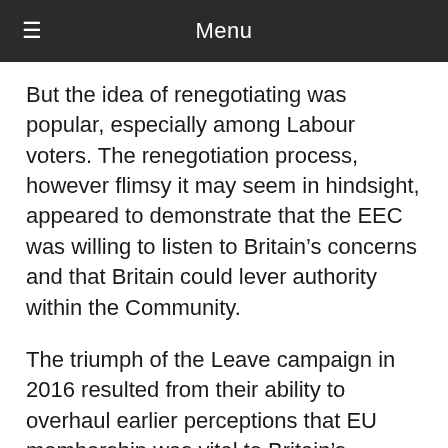Menu
But the idea of renegotiating was popular, especially among Labour voters. The renegotiation process, however flimsy it may seem in hindsight, appeared to demonstrate that the EEC was willing to listen to Britain's concerns and that Britain could lever authority within the Community.
The triumph of the Leave campaign in 2016 resulted from their ability to overhaul earlier perceptions that EU membership was vital to Britain's economic future. Crucially, it was able to popularise a plausible rhetoric of EU failure.
Indeed, the Leave campaign's ability to present Europe as a region of economic stagnation and a security threat